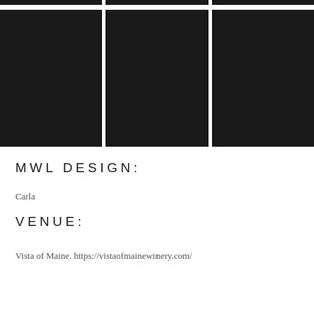[Figure (photo): Top strip of three dark/black photo thumbnails partially visible at top of page]
[Figure (photo): Three large dark/black portrait-orientation photo boxes arranged in a row]
MWL DESIGN:
Carla
VENUE:
Vista of Maine. https://vistaofmainewinery.com/